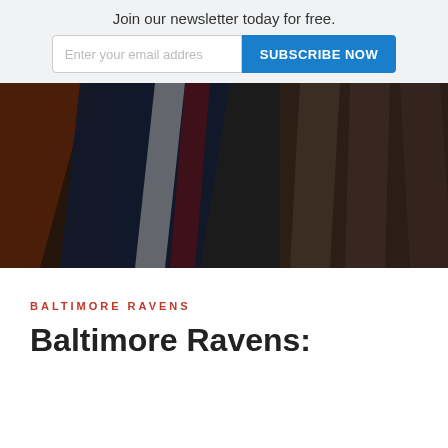Join our newsletter today for free.
[Figure (photo): Close-up photograph of NFL team flags or jerseys, showing orange, dark navy, red and white colors, partially obscured and dark-tinted]
BALTIMORE RAVENS
Baltimore Ravens: